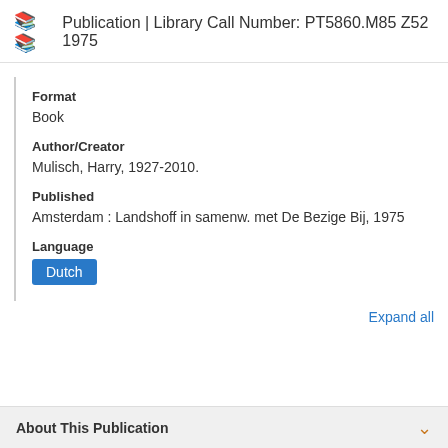Publication | Library Call Number: PT5860.M85 Z52 1975
Format
Book
Author/Creator
Mulisch, Harry, 1927-2010.
Published
Amsterdam : Landshoff in samenw. met De Bezige Bij, 1975
Language
Dutch
Expand all
About This Publication